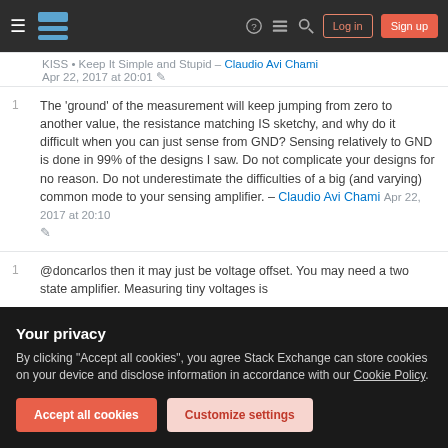Stack Exchange navigation bar with Log in and Sign up buttons
KISS • Keep It Simple and Stupid – Claudio Avi Chami
Apr 22, 2017 at 20:01
1  The 'ground' of the measurement will keep jumping from zero to another value, the resistance matching IS sketchy, and why do it difficult when you can just sense from GND? Sensing relatively to GND is done in 99% of the designs I saw. Do not complicate your designs for no reason. Do not underestimate the difficulties of a big (and varying) common mode to your sensing amplifier. – Claudio Avi Chami Apr 22, 2017 at 20:10
1  @doncarlos then it may just be voltage offset. You may need a two state amplifier. Measuring tiny voltages is...
Your privacy
By clicking "Accept all cookies", you agree Stack Exchange can store cookies on your device and disclose information in accordance with our Cookie Policy.